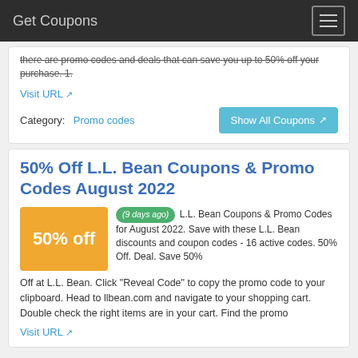Get Coupons
there are promo codes and deals that can save you up to 50% off your purchase. 1.
Visit URL
Category:  Promo codes
Show All Coupons
50% Off L.L. Bean Coupons & Promo Codes August 2022
(9 days ago) L.L. Bean Coupons & Promo Codes for August 2022. Save with these L.L. Bean discounts and coupon codes - 16 active codes. 50% Off. Deal. Save 50% Off at L.L. Bean. Click "Reveal Code" to copy the promo code to your clipboard. Head to llbean.com and navigate to your shopping cart. Double check the right items are in your cart. Find the promo
Visit URL